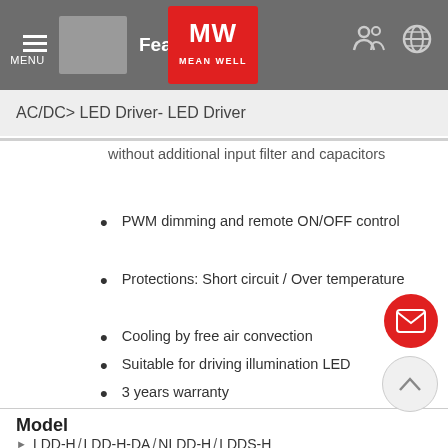MENU | [product thumbnail] | Featu... | [MW Mean Well logo] | [icons]
AC/DC> LED Driver- LED Driver
without additional input filter and capacitors
PWM dimming and remote ON/OFF control
Protections: Short circuit / Over temperature
Cooling by free air convection
Suitable for driving illumination LED
3 years warranty
Model
❯ LDD-H / LDD-H-DA / NLDD-H / LDDS-H